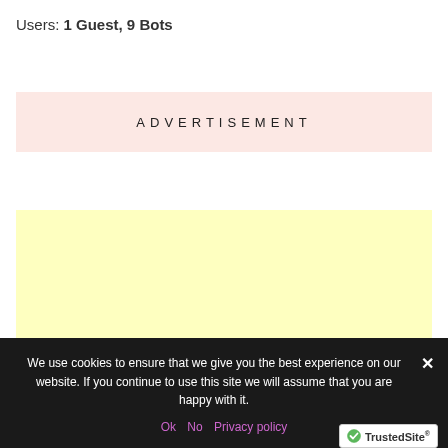Users: 1 Guest, 9 Bots
[Figure (other): Advertisement placeholder box with pink/salmon background and text 'ADVERTISEMENT' in letter-spaced capitals]
[Figure (other): Yellow advertisement placeholder box]
We use cookies to ensure that we give you the best experience on our website. If you continue to use this site we will assume that you are happy with it.
Ok   No   Privacy policy